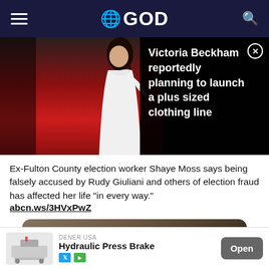GOD
[Figure (photo): Woman in white dress on red carpet event, with dark overlay on right side showing Victoria Beckham news headline]
Victoria Beckham reportedly planning to launch a plus sized clothing line
Ex-Fulton County election worker Shaye Moss says being falsely accused by Rudy Giuliani and others of election fraud has affected her life "in every way." abcn.ws/3HVxPwZ
[Figure (screenshot): Twitter embedded video showing Shaye Moss with Watch on Twitter button]
DENER USA
Hydraulic Press Brake